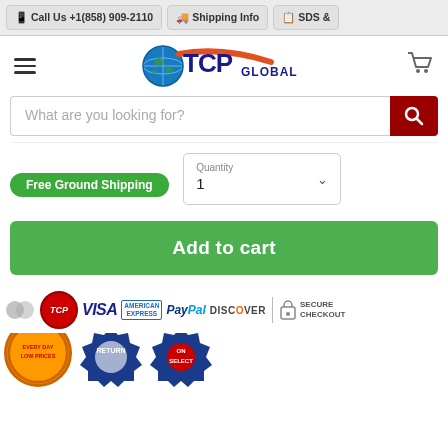Call Us +1(858) 909-2110 | Shipping Info | SDS &
[Figure (logo): TCP Global logo with globe icon and orange swoosh]
What are you looking for?
Free Ground Shipping
Quantity
1
Add to cart
[Figure (infographic): Payment method icons: Mastercard, VISA, American Express, PayPal, Discover, Secure Checkout badge, TCP Global circle badge, Every Day Low Prices badge, Return badge, On Select badge]